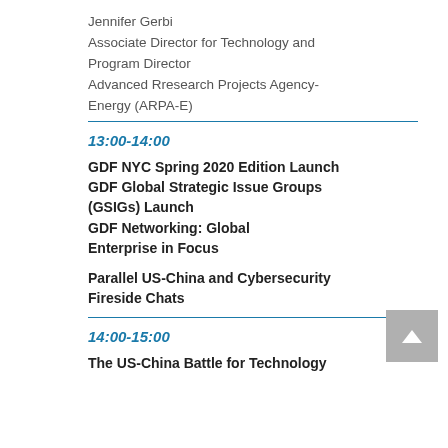Jennifer Gerbi
Associate Director for Technology and Program Director
Advanced Rresearch Projects Agency-Energy (ARPA-E)
13:00-14:00
GDF NYC Spring 2020 Edition Launch
GDF Global Strategic Issue Groups (GSIGs) Launch
GDF Networking: Global Enterprise in Focus
Parallel US-China and Cybersecurity Fireside Chats
14:00-15:00
The US-China Battle for Technology